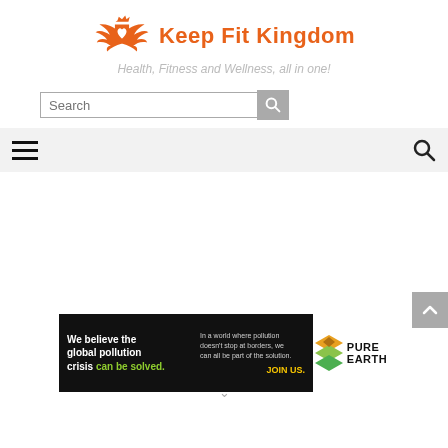[Figure (logo): Keep Fit Kingdom logo with orange crown and wings emblem and orange brand name text]
Health, Fitness and Wellness, all in one!
[Figure (screenshot): Search bar with text input field and search button]
[Figure (screenshot): Navigation bar with hamburger menu icon on left and search icon on right on light gray background]
[Figure (screenshot): Scroll-to-top button, gray rounded square with up chevron]
[Figure (infographic): Pure Earth advertisement banner: black background left with text 'We believe the global pollution crisis can be solved.' and 'In a world where pollution doesn't stop at borders, we can all be part of the solution. JOIN US.' Right side shows Pure Earth diamond logo and brand name.]